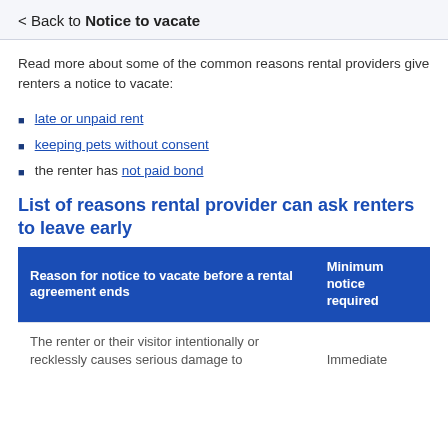< Back to Notice to vacate
Read more about some of the common reasons rental providers give renters a notice to vacate:
late or unpaid rent
keeping pets without consent
the renter has not paid bond
List of reasons rental provider can ask renters to leave early
| Reason for notice to vacate before a rental agreement ends | Minimum notice required |
| --- | --- |
| The renter or their visitor intentionally or recklessly causes serious damage to | Immediate |